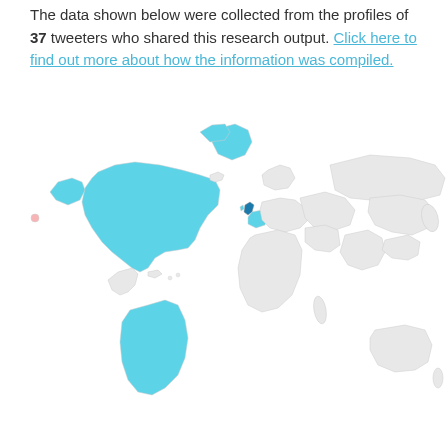The data shown below were collected from the profiles of 37 tweeters who shared this research output. Click here to find out more about how the information was compiled.
[Figure (map): World map showing tweeter locations. North America (USA and Canada) highlighted in light blue (cyan) indicating high share count. UK and parts of Western Europe highlighted in dark blue. Rest of world shown in light grey.]